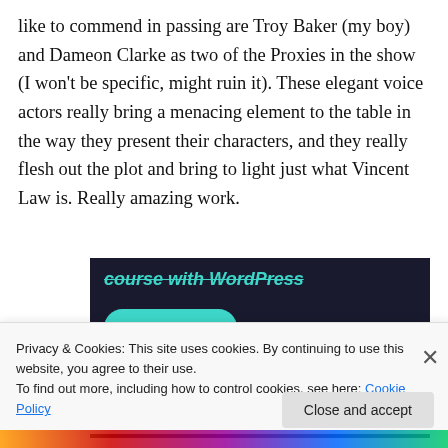like to commend in passing are Troy Baker (my boy) and Dameon Clarke as two of the Proxies in the show (I won't be specific, might ruin it). These elegant voice actors really bring a menacing element to the table in the way they present their characters, and they really flesh out the plot and bring to light just what Vincent Law is. Really amazing work.
[Figure (screenshot): Dark navy ad banner with teal italic text 'course with WordPress' and a teal rounded 'Learn More' button]
Privacy & Cookies: This site uses cookies. By continuing to use this website, you agree to their use.
To find out more, including how to control cookies, see here: Cookie Policy
Close and accept